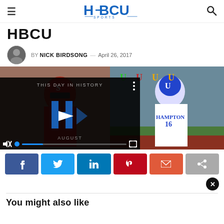HBCU Sports
HBCU
BY NICK BIRDSONG — April 26, 2017
[Figure (photo): Football game action photo showing players in red uniforms and Hampton player #16 in blue/white uniform, with an embedded video player overlay showing 'THIS DAY IN HISTORY' with HBCU Sports logo and August label, play button, mute icon, and fullscreen controls.]
[Figure (infographic): Social sharing buttons row: Facebook (blue), Twitter (light blue), LinkedIn (teal-blue), Pinterest (red), Email (red-orange), Share (gray)]
You might also like